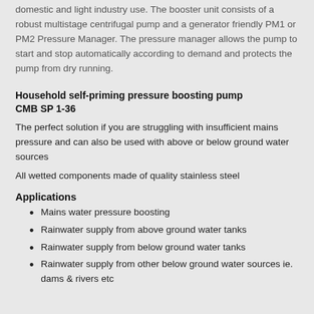domestic and light industry use. The booster unit consists of a robust multistage centrifugal pump and a generator friendly PM1 or PM2 Pressure Manager. The pressure manager allows the pump to start and stop automatically according to demand and protects the pump from dry running.
Household self-priming pressure boosting pump CMB SP 1-36
The perfect solution if you are struggling with insufficient mains pressure and can also be used with above or below ground water sources
All wetted components made of quality stainless steel
Applications
Mains water pressure boosting
Rainwater supply from above ground water tanks
Rainwater supply from below ground water tanks
Rainwater supply from other below ground water sources ie. dams & rivers etc